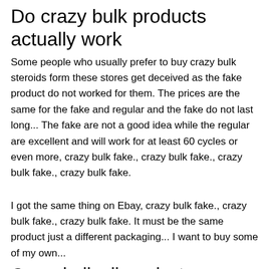Do crazy bulk products actually work
Some people who usually prefer to buy crazy bulk steroids form these stores get deceived as the fake product do not worked for them. The prices are the same for the fake and regular and the fake do not last long... The fake are not a good idea while the regular are excellent and will work for at least 60 cycles or even more, crazy bulk fake., crazy bulk fake., crazy bulk fake., crazy bulk fake.
I got the same thing on Ebay, crazy bulk fake., crazy bulk fake., crazy bulk fake. It must be the same product just a different packaging... I want to buy some of my own...
Crazy bulk all products
The cyclodextrin delivery system ensures optimal absorption and utilisation of 4-AD as